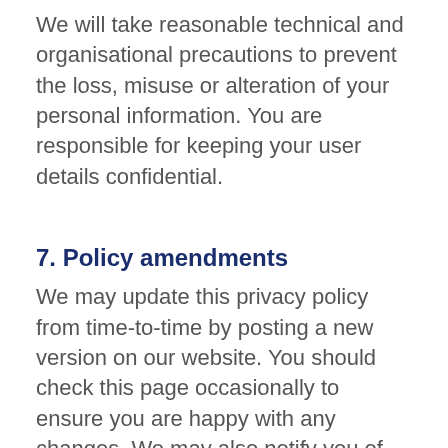We will take reasonable technical and organisational precautions to prevent the loss, misuse or alteration of your personal information. You are responsible for keeping your user details confidential.
7. Policy amendments
We may update this privacy policy from time-to-time by posting a new version on our website. You should check this page occasionally to ensure you are happy with any changes. We may also notify you of changes to our privacy policy by email.